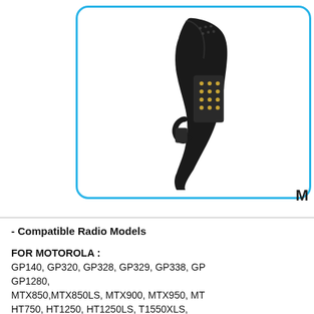[Figure (photo): Close-up photo of a black radio connector/plug with gold pins on a white background, inside a rounded blue border box.]
M
- Compatible Radio Models
FOR MOTOROLA : GP140, GP320, GP328, GP329, GP338, GP... GP1280, MTX850,MTX850LS, MTX900, MTX950, MT... HT750, HT1250, HT1250LS, T1550XLS,